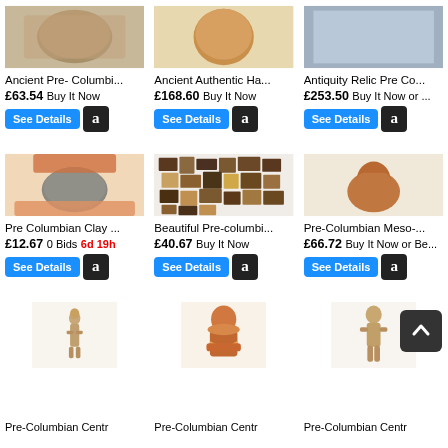[Figure (photo): Ancient Pre-Columbian artifact - rock-like object]
Ancient Pre- Columbi...
£63.54 Buy It Now
[Figure (photo): Ancient Authentic Ha... - round brown object]
Ancient Authentic Ha...
£168.60 Buy It Now
[Figure (photo): Antiquity Relic Pre Co... - gray background item]
Antiquity Relic Pre Co...
£253.50 Buy It Now or ...
[Figure (photo): Pre Columbian Clay - stone seal held between fingers]
Pre Columbian Clay ...
£12.67 0 Bids 6d 19h
[Figure (photo): Beautiful Pre-columbi... - pottery shards mosaic]
Beautiful Pre-columbi...
£40.67 Buy It Now
[Figure (photo): Pre-Columbian Meso-... - terracotta figure]
Pre-Columbian Meso-...
£66.72 Buy It Now or Be...
[Figure (photo): Pre-Columbian Centr - small clay figurine]
Pre-Columbian Centr
[Figure (photo): Pre-Columbian Centr - orange/terracotta bust figurine]
Pre-Columbian Centr
[Figure (photo): Pre-Columbian Centr - tan clay standing figure]
Pre-Columbian Centr